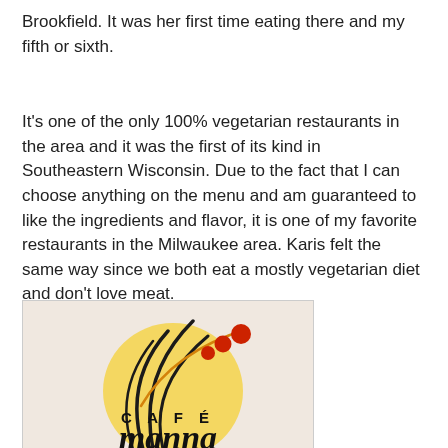Brookfield. It was her first time eating there and my fifth or sixth.
It's one of the only 100% vegetarian restaurants in the area and it was the first of its kind in Southeastern Wisconsin. Due to the fact that I can choose anything on the menu and am guaranteed to like the ingredients and flavor, it is one of my favorite restaurants in the Milwaukee area. Karis felt the same way since we both eat a mostly vegetarian diet and don't love meat.
[Figure (logo): Café Manna restaurant logo featuring a beige/tan circular background (like a sun), black grass/reed stalks, an orange curved line, and three red circular dots. Text reads 'CAFÉ' in spaced capital letters and 'manna' in large script below.]